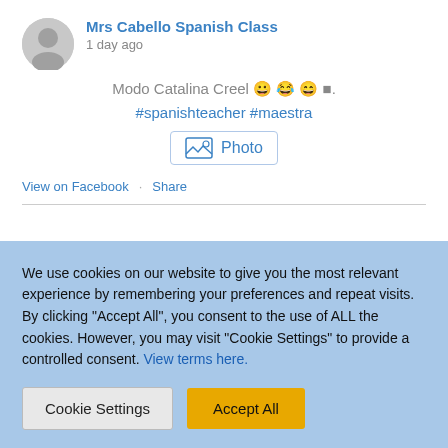Mrs Cabello Spanish Class
1 day ago
Modo Catalina Creel 😊😊😊🔲.
#spanishteacher #maestra
[Figure (other): Photo link icon with image symbol and label 'Photo']
View on Facebook · Share
Mrs Cabello Spanish Class
We use cookies on our website to give you the most relevant experience by remembering your preferences and repeat visits. By clicking "Accept All", you consent to the use of ALL the cookies. However, you may visit "Cookie Settings" to provide a controlled consent. View terms here.